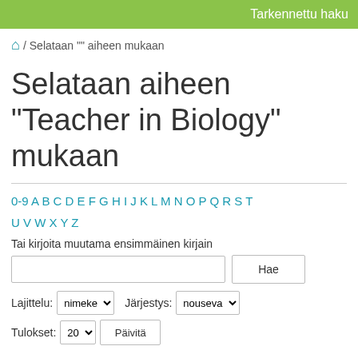Tarkennettu haku
🏠 / Selataan "" aiheen mukaan
Selataan aiheen "Teacher in Biology" mukaan
0-9 A B C D E F G H I J K L M N O P Q R S T U V W X Y Z
Tai kirjoita muutama ensimmäinen kirjain
[search input] Hae
Lajittelu: nimeke   Järjestys: nouseva
Tulokset: 20   Päivitä